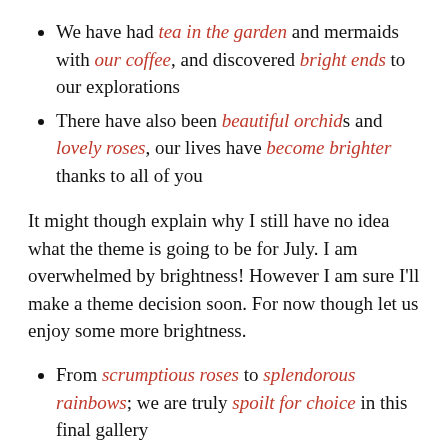We have had tea in the garden and mermaids with our coffee, and discovered bright ends to our explorations
There have also been beautiful orchids and lovely roses, our lives have become brighter thanks to all of you
It might though explain why I still have no idea what the theme is going to be for July. I am overwhelmed by brightness! However I am sure I’ll make a theme decision soon. For now though let us enjoy some more brightness.
From scrumptious roses to splendorous rainbows; we are truly spoilt for choice in this final gallery
No wonder I have wanted to hop aboard, and continue our bright journey and squaring